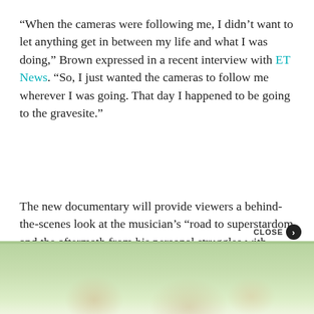“When the cameras were following me, I didn’t want to let anything get in between my life and what I was doing,” Brown expressed in a recent interview with ET News. “So, I just wanted the cameras to follow me wherever I was going. That day I happened to be going to the gravesite.”
The new documentary will provide viewers a behind-the-scenes look at the musician’s “road to superstardom and the aftermath from his personal struggles with sobriety and the terrible deaths of his two children and first wife, Whitney Houston,” according to A&E.
[Figure (photo): Partial view of an outdoor photo, appearing to show a blurred green and natural background, visible at the bottom of the page as a cropped image strip.]